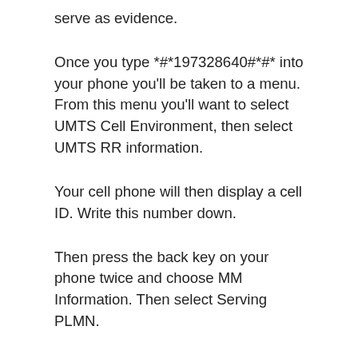serve as evidence.
Once you type *#*197328640#*#* into your phone you'll be taken to a menu. From this menu you'll want to select UMTS Cell Environment, then select UMTS RR information.
Your cell phone will then display a cell ID. Write this number down.
Then press the back key on your phone twice and choose MM Information. Then select Serving PLMN.